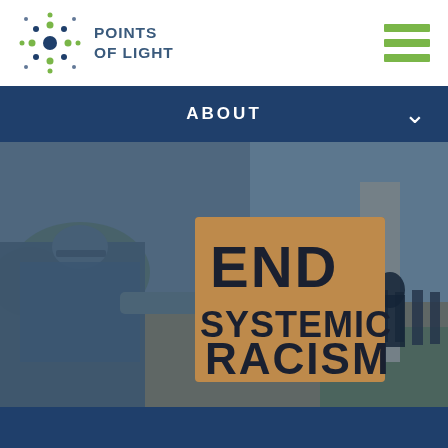[Figure (logo): Points of Light logo with star/dot pattern icon and bold text reading POINTS OF LIGHT]
[Figure (other): Hamburger menu icon with three horizontal green bars]
ABOUT
[Figure (photo): Protest march photo with blue overlay. A person holds a cardboard sign reading END SYSTEMIC RACISM. People walking in background near a monument. Blue tinted overlay.]